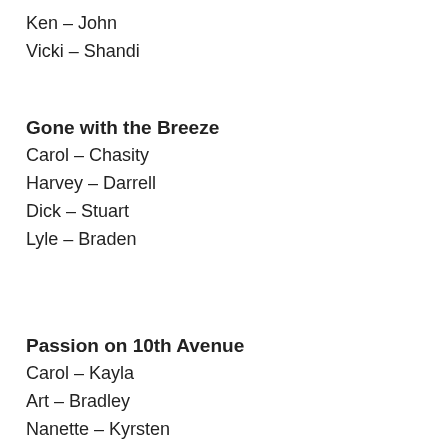Ken – John
Vicki – Shandi
Gone with the Breeze
Carol – Chasity
Harvey – Darrell
Dick – Stuart
Lyle – Braden
Passion on 10th Avenue
Carol – Kayla
Art – Bradley
Nanette – Kyrsten
Old Lady – Paula